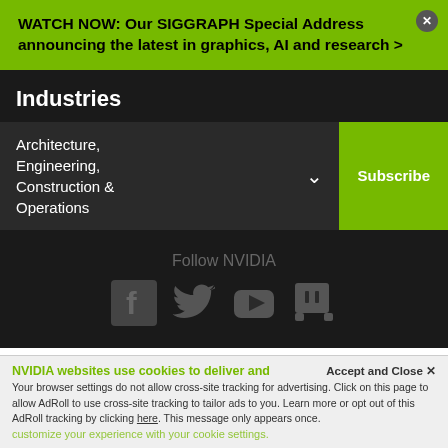WATCH NOW: Our SIGGRAPH Special Address announcing the latest in graphics, AI and research >
Industries
Architecture, Engineering, Construction & Operations
Subscribe
Follow NVIDIA
[Figure (logo): NVIDIA logo with eye icon and wordmark]
United Kingdom
NVIDIA websites use cookies to deliver and
Accept and Close ✕
Your browser settings do not allow cross-site tracking for advertising. Click on this page to allow AdRoll to use cross-site tracking to tailor ads to you. Learn more or opt out of this AdRoll tracking by clicking here. This message only appears once.
customize your experience with your cookie settings.